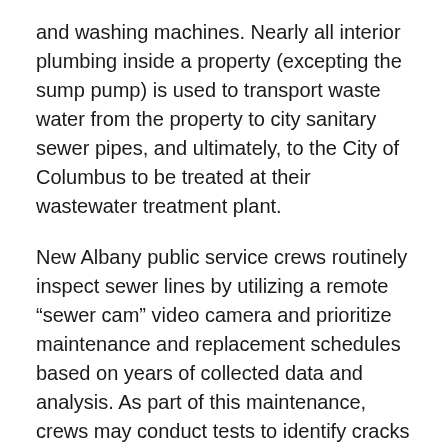and washing machines. Nearly all interior plumbing inside a property (excepting the sump pump) is used to transport waste water from the property to city sanitary sewer pipes, and ultimately, to the City of Columbus to be treated at their wastewater treatment plant.
New Albany public service crews routinely inspect sewer lines by utilizing a remote “sewer cam” video camera and prioritize maintenance and replacement schedules based on years of collected data and analysis. As part of this maintenance, crews may conduct tests to identify cracks that can cause sewer leaks. Cleanings occur when grease, roots or other deposits cause clogs within sewer lines. Crews may also routinely power wash sewer main lines in known trouble areas even when there are no evident problems to clear pipes for proper flow and remove slight obstructions.
When a city crew member is in...